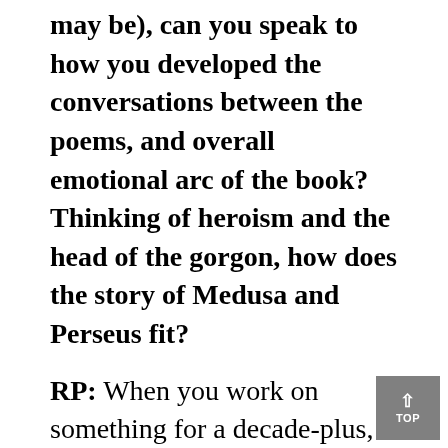may be), can you speak to how you developed the conversations between the poems, and overall emotional arc of the book? Thinking of heroism and the head of the gorgon, how does the story of Medusa and Perseus fit?
RP: When you work on something for a decade-plus, you probably have